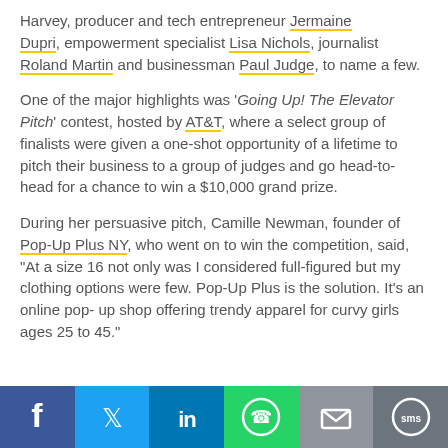Harvey, producer and tech entrepreneur Jermaine Dupri, empowerment specialist Lisa Nichols, journalist Roland Martin and businessman Paul Judge, to name a few.
One of the major highlights was 'Going Up! The Elevator Pitch' contest, hosted by AT&T, where a select group of finalists were given a one-shot opportunity of a lifetime to pitch their business to a group of judges and go head-to-head for a chance to win a $10,000 grand prize.
During her persuasive pitch, Camille Newman, founder of Pop-Up Plus NY, who went on to win the competition, said, "At a size 16 not only was I considered full-figured but my clothing options were few. Pop-Up Plus is the solution. It's an online pop-up shop offering trendy apparel for curvy girls ages 25 to 45."
[Figure (other): Social sharing bar with icons for Facebook, Twitter, LinkedIn, WhatsApp, Email, and SMS]